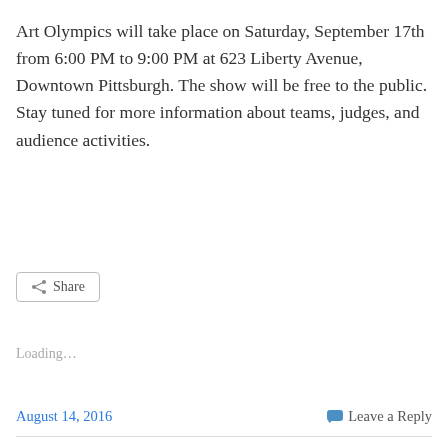Art Olympics will take place on Saturday, September 17th from 6:00 PM to 9:00 PM at 623 Liberty Avenue, Downtown Pittsburgh. The show will be free to the public.  Stay tuned for more information about teams, judges, and audience activities.
Loading...
August 14, 2016
Leave a Reply
Art Olympics Wi...